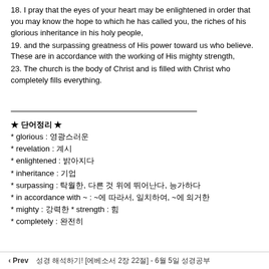18. I pray that the eyes of your heart may be enlightened in order that you may know the hope to which he has called you, the riches of his glorious inheritance in his holy people,
19. and the surpassing greatness of His power toward us who believe. These are in accordance with the working of His mighty strength,
23. The church is the body of Christ and is filled with Christ who completely fills everything.
★ 단어정리 ★
* glorious : 영광스러운
* revelation : 계시
* enlightened : 밝아지다
* inheritance : 기업
* surpassing : 탁월한, 다른 것 위에 뛰어난다, 능가하다
* in accordance with ~ : ~에 따라서, 일치하여, ~에 의거한
* mighty : 강력한 * strength : 힘
* completely : 완전히
‹ Prev   성경 해석하기! [에베소서 2장 22절] - 6월 5일 성경공부